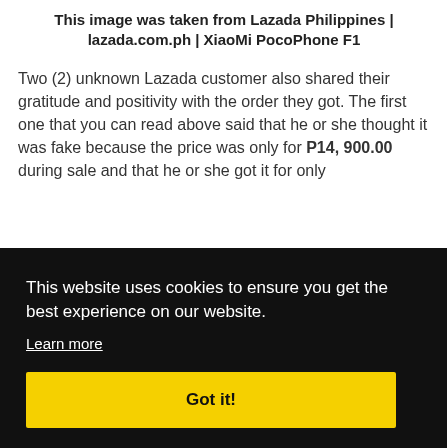This image was taken from Lazada Philippines | lazada.com.ph | XiaoMi PocoPhone F1
Two (2) unknown Lazada customer also shared their gratitude and positivity with the order they got. The first one that you can read above said that he or she thought it was fake because the price was only for P14, 900.00 during sale and that he or she got it for only
This website uses cookies to ensure you get the best experience on our website.
Learn more
Got it!
purchases and that everything was in place